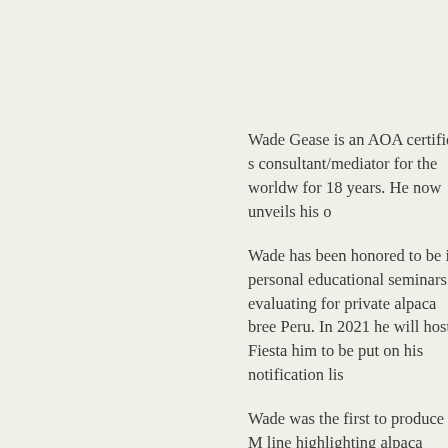Wade Gease is an AOA certified s consultant/mediator for the worldw for 18 years. He now unveils his o
Wade has been honored to be inv personal educational seminars at evaluating for private alpaca bree Peru. In 2021 he will host a Fiesta him to be put on his notification lis
Wade was the first to produce a M line highlighting alpaca fabric, Alp discriminating consumer and help Fashion shows were presented in the accessory lines of The Alpaca venues and shows like AOA.
Mr. Gease also forged ahead in m felting machine for home/farm us